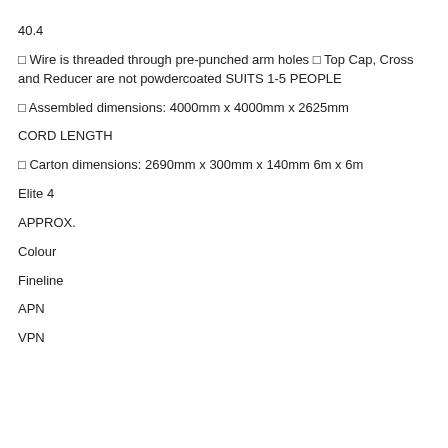40.4
□ Wire is threaded through pre-punched arm holes □ Top Cap, Cross and Reducer are not powdercoated SUITS 1-5 PEOPLE
□ Assembled dimensions: 4000mm x 4000mm x 2625mm
CORD LENGTH
□ Carton dimensions: 2690mm x 300mm x 140mm 6m x 6m
Elite 4
APPROX.
Colour
Fineline
APN
VPN